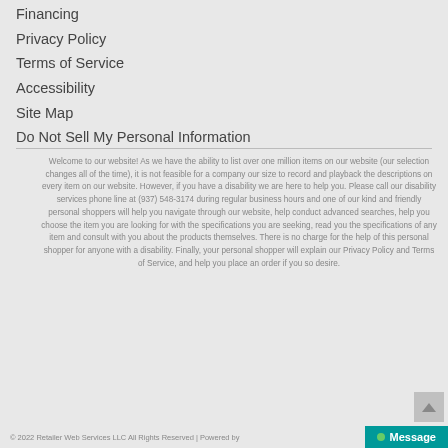Financing
Privacy Policy
Terms of Service
Accessibility
Site Map
Do Not Sell My Personal Information
Welcome to our website! As we have the ability to list over one million items on our website (our selection changes all of the time), it is not feasible for a company our size to record and playback the descriptions on every item on our website. However, if you have a disability we are here to help you. Please call our disability services phone line at (937) 548-3174 during regular business hours and one of our kind and friendly personal shoppers will help you navigate through our website, help conduct advanced searches, help you choose the item you are looking for with the specifications you are seeking, read you the specifications of any item and consult with you about the products themselves. There is no charge for the help of this personal shopper for anyone with a disability. Finally, your personal shopper will explain our Privacy Policy and Terms of Service, and help you place an order if you so desire.
© 2022 Retailer Web Services LLC All Rights Reserved | Powered by